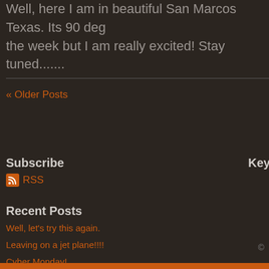Well, here I am in beautiful San Marcos Texas.  Its 90 deg... the week but I am really excited!  Stay tuned.......
« Older Posts
Subscribe
RSS
Key
Recent Posts
Well, let's try this again.
Leaving on a jet plane!!!!
Cyber Monday!
Getting ready to head back home!
April Fools!
Getting ready to go!
©